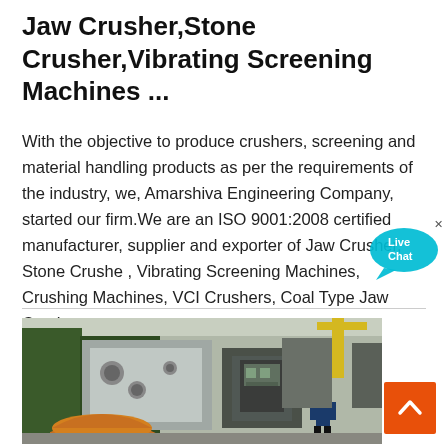Jaw Crusher,Stone Crusher,Vibrating Screening Machines ...
With the objective to produce crushers, screening and material handling products as per the requirements of the industry, we, Amarshiva Engineering Company, started our firm.We are an ISO 9001:2008 certified manufacturer, supplier and exporter of Jaw Crusher, Stone Crusher, Vibrating Screening Machines, Crushing Machines, VCI Crushers, Coal Type Jaw Crushers, ...
[Figure (photo): Factory floor showing large industrial crusher machinery components including a cone crusher bowl and heavy equipment with a worker in red hard hat in background]